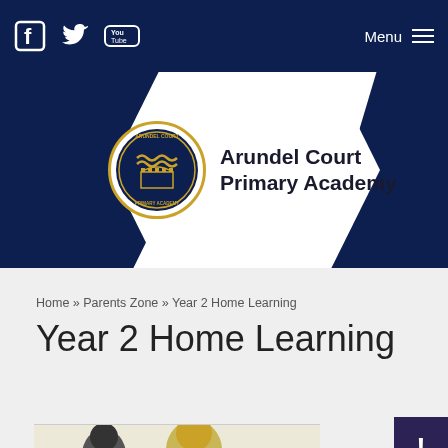Facebook Twitter YouTube Menu
[Figure (logo): Arundel Court Primary Academy circular crest logo with gold border, waves and building emblem]
Arundel Court Primary Academy
Home » Parents Zone » Year 2 Home Learning
Year 2 Home Learning
[Figure (photo): Partially visible photo of children or school-related imagery at bottom of page]